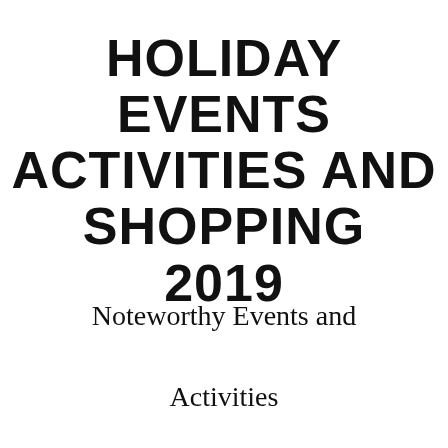HOLIDAY EVENTS ACTIVITIES AND SHOPPING 2019
Noteworthy Events and Activities